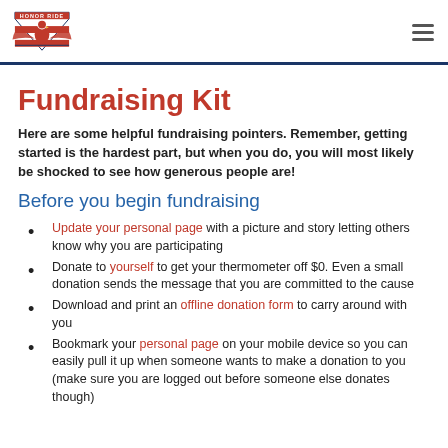HONOR RIDE [logo]
Fundraising Kit
Here are some helpful fundraising pointers. Remember, getting started is the hardest part, but when you do, you will most likely be shocked to see how generous people are!
Before you begin fundraising
Update your personal page with a picture and story letting others know why you are participating
Donate to yourself to get your thermometer off $0. Even a small donation sends the message that you are committed to the cause
Download and print an offline donation form to carry around with you
Bookmark your personal page on your mobile device so you can easily pull it up when someone wants to make a donation to you (make sure you are logged out before someone else donates though)